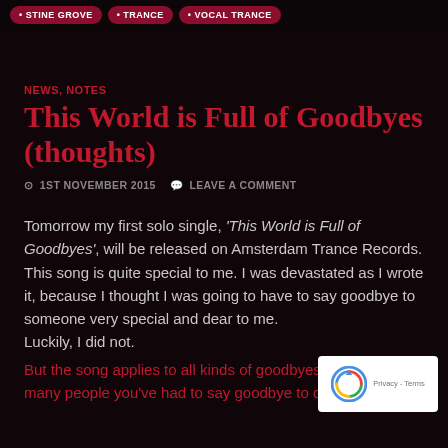STINE GROVE · TRANCE · VOCAL TRANCE
NEWS, NOTES
This World is Full of Goodbyes (thoughts)
1ST NOVEMBER 2015   LEAVE A COMMENT
Tomorrow my first solo single, 'This World is Full of Goodbyes', will be released on Amsterdam Trance Records. This song is quite special to me. I was devastated as I wrote it, because I thought I was going to have to say goodbye to someone very special and dear to me.
Luckily, I did not.
But the song applies to all kinds of goodbyes. Consider many people you've had to say goodbye to during your life